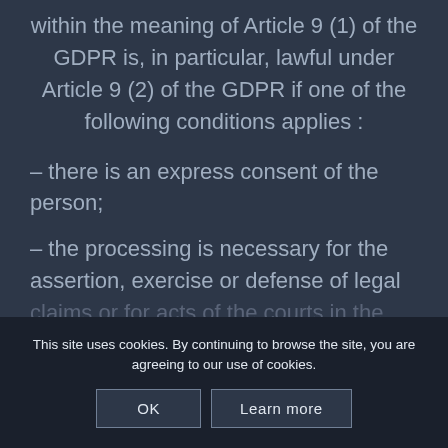within the meaning of Article 9 (1) of the GDPR is, in particular, lawful under Article 9 (2) of the GDPR if one of the following conditions applies :
– there is an express consent of the person;
– the processing is necessary for the assertion, exercise or defense of legal claims or for acts of the courts in the context of their judicial activity.
4. An automated decision-making or profiling of persons drawn in the
This site uses cookies. By continuing to browse the site, you are agreeing to our use of cookies.
OK
Learn more